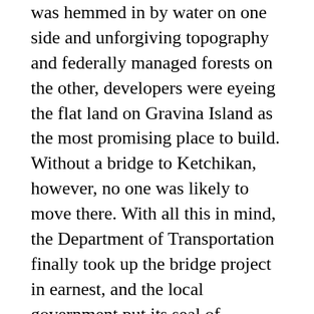was hemmed in by water on one side and unforgiving topography and federally managed forests on the other, developers were eyeing the flat land on Gravina Island as the most promising place to build. Without a bridge to Ketchikan, however, no one was likely to move there. With all this in mind, the Department of Transportation finally took up the bridge project in earnest, and the local government put its seal of approval on a plan that would cost roughly $250 million.
Then things took a quintessentially Alaskan turn. The DOT picked a more expensive alternative design, increasing the price tag of the project to more than $300 million. And